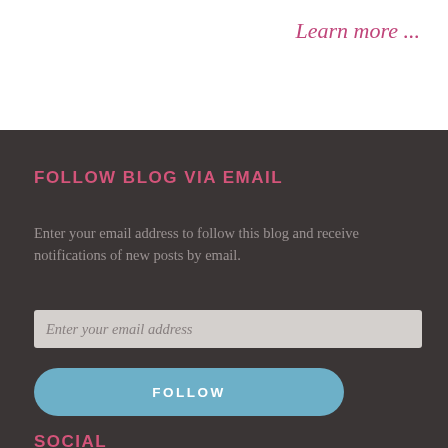Learn more ...
FOLLOW BLOG VIA EMAIL
Enter your email address to follow this blog and receive notifications of new posts by email.
Enter your email address
FOLLOW
SOCIAL